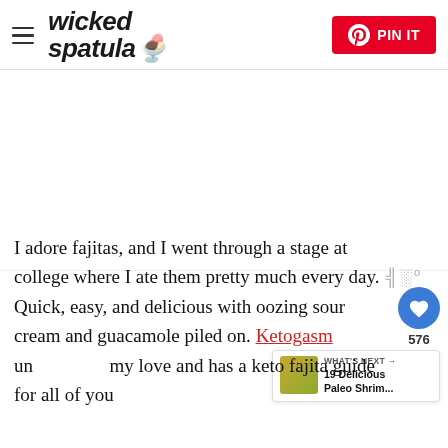wicked spatula — PIN IT
[Figure (photo): Large blank/white image placeholder area — recipe photo area for wicked spatula blog post]
I adore fajitas, and I went through a stage at college where I ate them pretty much every day. Quick, easy, and delicious with oozing sour cream and guacamole piled on. Ketogasm und... my love and has a keto fajita guide for all of you